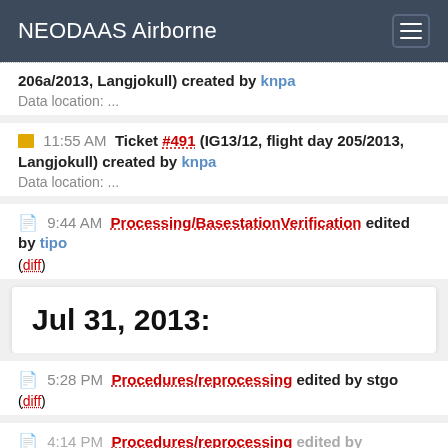NEODAAS Airborne
206a/2013, Langjokull) created by knpa
Data location: ...
11:55 AM Ticket #491 (IG13/12, flight day 205/2013, Langjokull) created by knpa
Data location: ...
9:44 AM Processing/BasestationVerification edited by tipo
(diff)
Jul 31, 2013:
5:28 PM Procedures/reprocessing edited by stgo
(diff)
4:14 PM Procedures/reprocessing edited by